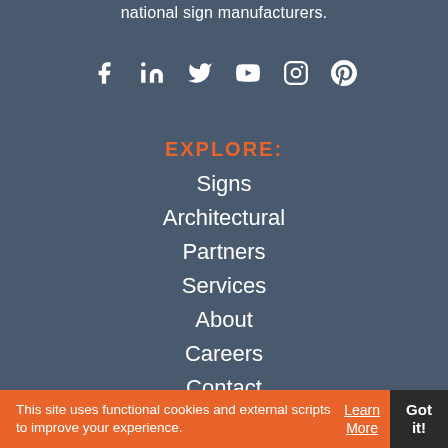national sign manufacturers.
[Figure (infographic): Social media icons: Facebook, LinkedIn, Twitter, YouTube, Instagram, Pinterest — white icons on dark blue-grey background]
EXPLORE:
Signs
Architectural
Partners
Services
About
Careers
Contact
This site uses functional cookies and external scripts to improve your experience.
Learn More
Got it!